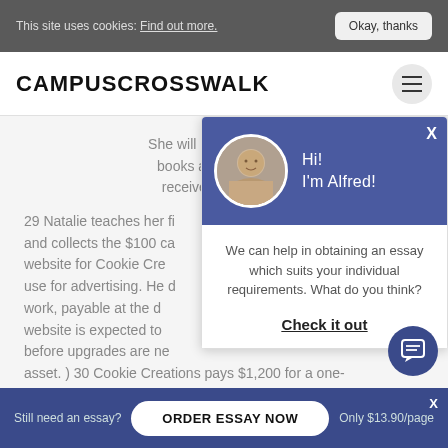This site uses cookies: Find out more. Okay, thanks
CAMPUSCROSSWALK
She will receive $100 on... books a second class... receives a $60 cash...
29 Natalie teaches her fi... and collects the $100 ca... website for Cookie Cre... use for advertising. He d... work, payable at the d... website is expected to... before upgrades are ne... asset. ) 30 Cookie Creations pays $1,200 for a one-... insurance policy.
[Figure (screenshot): Chat popup with avatar of Alfred, dark blue header, white body with text 'We can help in obtaining an essay which suits your individual requirements. What do you think?' and a 'Check it out' link]
Still need an essay? ORDER ESSAY NOW Only $13.90/page